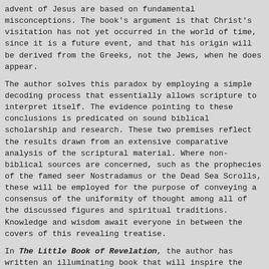advent of Jesus are based on fundamental misconceptions. The book's argument is that Christ's visitation has not yet occurred in the world of time, since it is a future event, and that his origin will be derived from the Greeks, not the Jews, when he does appear.
The author solves this paradox by employing a simple decoding process that essentially allows scripture to interpret itself. The evidence pointing to these conclusions is predicated on sound biblical scholarship and research. These two premises reflect the results drawn from an extensive comparative analysis of the scriptural material. Where non-biblical sources are concerned, such as the prophecies of the famed seer Nostradamus or the Dead Sea Scrolls, these will be employed for the purpose of conveying a consensus of the uniformity of thought among all of the discussed figures and spiritual traditions. Knowledge and wisdom await everyone in between the covers of this revealing treatise.
In The Little Book of Revelation, the author has written an illuminating book that will inspire the readers to endeavor to search and verify for themselves prior to passing premature judgment upon these views. It encourages them to examine "the Scriptures" in order to ascertain whether current teachings are consistent with them. It will empower them to be better prepared for what is about to come: events of epic proportions that will soon shake the world to its very core.